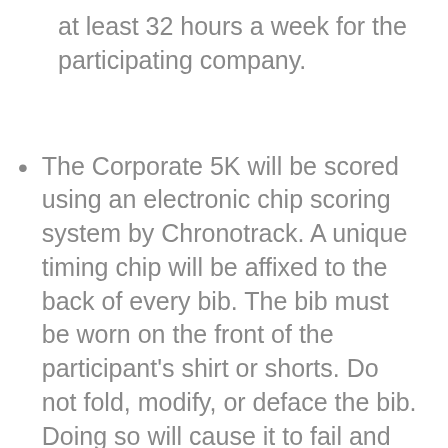at least 32 hours a week for the participating company.
The Corporate 5K will be scored using an electronic chip scoring system by Chronotrack. A unique timing chip will be affixed to the back of every bib. The bib must be worn on the front of the participant's shirt or shorts. Do not fold, modify, or deface the bib. Doing so will cause it to fail and your time will not be posted.
Participants must wear their bib and cross the mats at the start and finish lines to be timed. All recorded times will be listed on